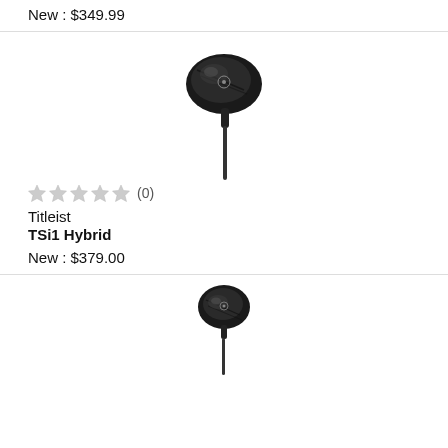New : $349.99
[Figure (photo): Black Titleist hybrid golf club head with shaft, angled view from above]
★★★★★ (0)
Titleist
TSi1 Hybrid
New : $379.00
[Figure (photo): Black Titleist hybrid golf club head with shaft, front view]